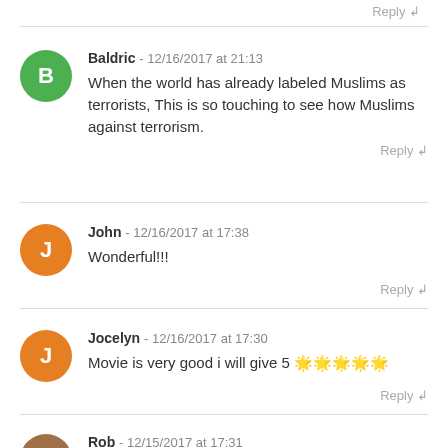Reply ↲
Baldric - 12/16/2017 at 21:13
When the world has already labeled Muslims as terrorists, This is so touching to see how Muslims against terrorism.
Reply ↲
John - 12/16/2017 at 17:38
Wonderful!!!
Reply ↲
Jocelyn - 12/16/2017 at 17:30
Movie is very good i will give 5 ⭐⭐⭐⭐⭐
Reply ↲
Rob - 12/15/2017 at 17:31